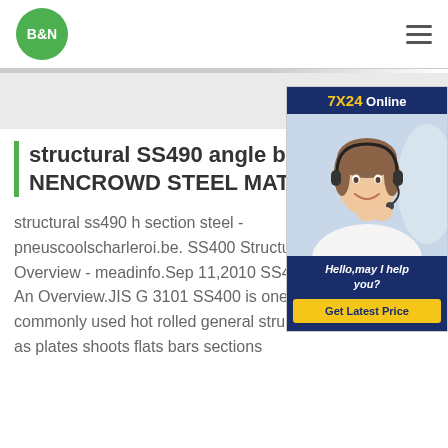[Figure (logo): B&N logo — white bold text on green circle]
structural SS490 angle bar - NENCROWD STEEL MAT
structural ss490 h section steel - pneuscoolscharleroi.be. SS400 Structural Steel - An Overview - meadinfo.Sep 11,2010 SS400 Structural Steel - An Overview.JIS G 3101 SS400 is one of the most commonly used hot rolled general structural steel.Supplied as plates shoots flats bars sections
[Figure (photo): Customer service representative wearing headset, smiling. Ad widget with 7X24 Online header and Hello, may I help you? text and Get Latest Price button.]